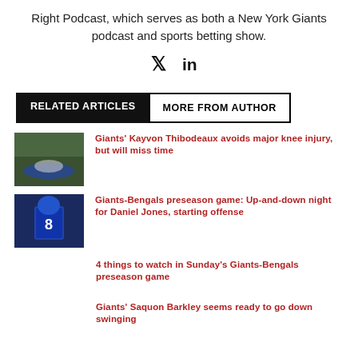Right Podcast, which serves as both a New York Giants podcast and sports betting show.
[Figure (other): Twitter and LinkedIn social media icons]
RELATED ARTICLES   MORE FROM AUTHOR
[Figure (photo): Football player lying on field with injury]
Giants' Kayvon Thibodeaux avoids major knee injury, but will miss time
[Figure (photo): Giants quarterback Daniel Jones number 8]
Giants-Bengals preseason game: Up-and-down night for Daniel Jones, starting offense
4 things to watch in Sunday's Giants-Bengals preseason game
Giants' Saquon Barkley seems ready to go down swinging